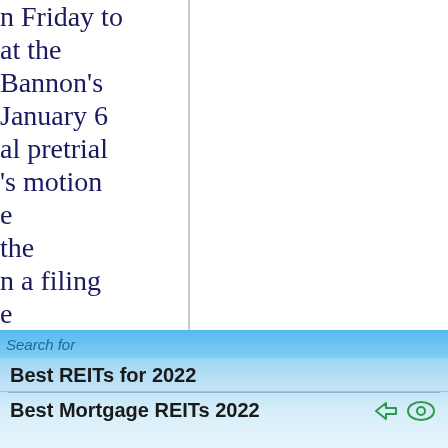n Friday to at the Bannon's January 6 al pretrial 's motion e the n a filing e sources told ng Cassidy ty ent Donald who tchinson's Trump forward – night have.
Search for
Best REITs for 2022
Best Mortgage REITs 2022